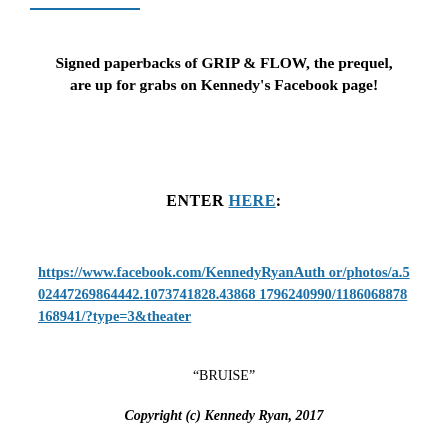Signed paperbacks of GRIP & FLOW, the prequel, are up for grabs on Kennedy's Facebook page!
ENTER HERE:
https://www.facebook.com/KennedyRyanAuthor/photos/a.502447269864442.1073741828.438681796240990/1186068878168941/?type=3&theater
“BRUISE”
Copyright (c) Kennedy Ryan, 2017